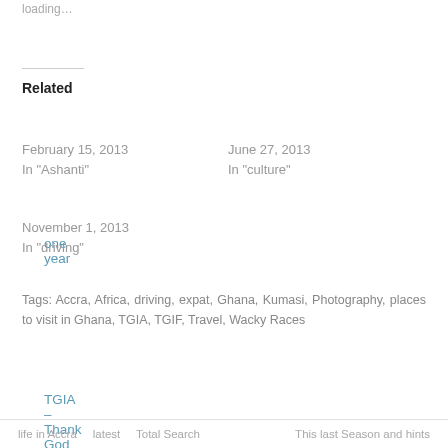loading…
Related
one year
February 15, 2013
In "Ashanti"
you live where?!?
June 27, 2013
In "culture"
TGIA – Thank God it's Africa
November 1, 2013
In "driving"
Tags: Accra, Africa, driving, expat, Ghana, Kumasi, Photography, places to visit in Ghana, TGIA, TGIF, Travel, Wacky Races
Follow six degrees north
life in Accra     latest     Total Search     This last Season and hints